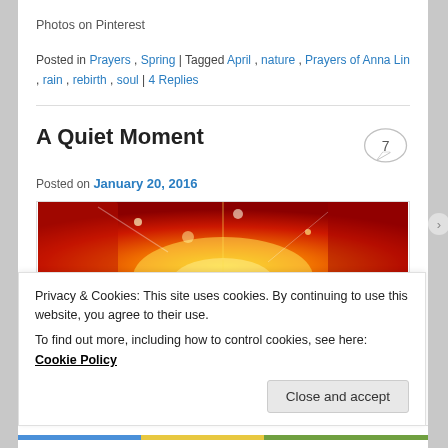Photos on Pinterest
Posted in Prayers , Spring | Tagged April , nature , Prayers of Anna Lin , rain , rebirth , soul | 4 Replies
A Quiet Moment
Posted on January 20, 2016
[Figure (photo): Red and orange fiery abstract image used as blog post header]
Privacy & Cookies: This site uses cookies. By continuing to use this website, you agree to their use.
To find out more, including how to control cookies, see here: Cookie Policy
Close and accept